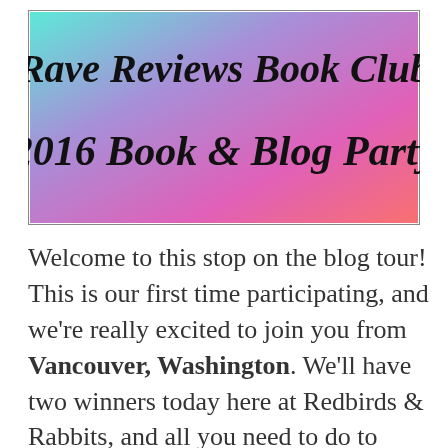[Figure (illustration): Banner image with gradient background (teal to pink) and black decorative text reading 'Rave Reviews Book Club 2016 Book & Blog Party']
Welcome to this stop on the blog tour! This is our first time participating, and we're really excited to join you from Vancouver, Washington. We'll have two winners today here at Redbirds & Rabbits, and all you need to do to enter is comment on this blog post. Our tw...